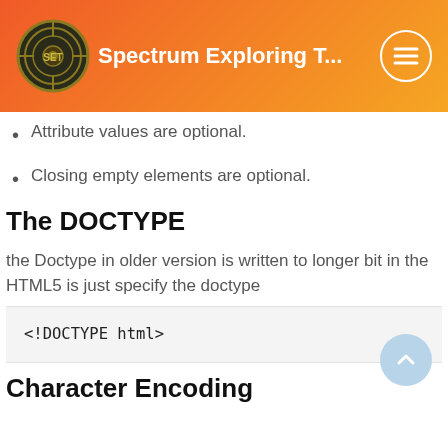Spectrum Exploring T...
Attribute values are optional.
Closing empty elements are optional.
The DOCTYPE
the Doctype in older version is written to longer bit in the HTML5 is just specify the doctype
<!DOCTYPE html>
Character Encoding